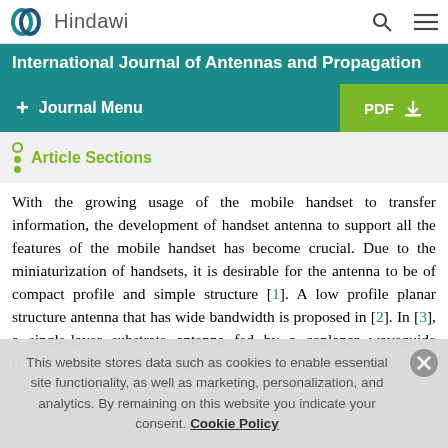Hindawi
International Journal of Antennas and Propagation
Journal Menu  |  PDF
Article Sections
With the growing usage of the mobile handset to transfer information, the development of handset antenna to support all the features of the mobile handset has become crucial. Due to the miniaturization of handsets, it is desirable for the antenna to be of compact profile and simple structure [1]. A low profile planar structure antenna that has wide bandwidth is proposed in [2]. In [3], a single-layer substrate antenna fed by a coplanar waveguide (CPW) is proposed. The single-layer structure presented in [4]
This website stores data such as cookies to enable essential site functionality, as well as marketing, personalization, and analytics. By remaining on this website you indicate your consent. Cookie Policy